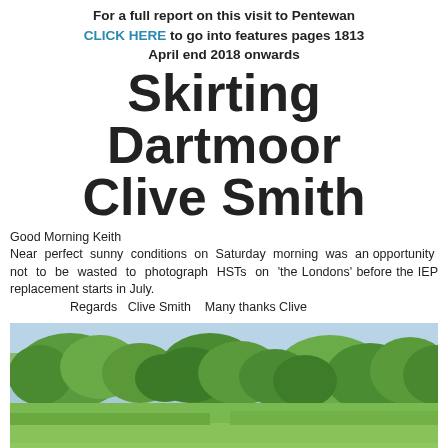For a full report on this visit to Pentewan CLICK HERE to go into features pages 1813 April end 2018 onwards
Skirting Dartmoor Clive Smith
Good Morning Keith
Near perfect sunny conditions on Saturday morning was an opportunity not to be wasted to photograph HSTs on 'the Londons' before the IEP replacement starts in July.
    Regards   Clive Smith   Many thanks Clive
[Figure (photo): Outdoor countryside scene with green trees and hills, a train visible at the bottom of the frame running through a valley.]